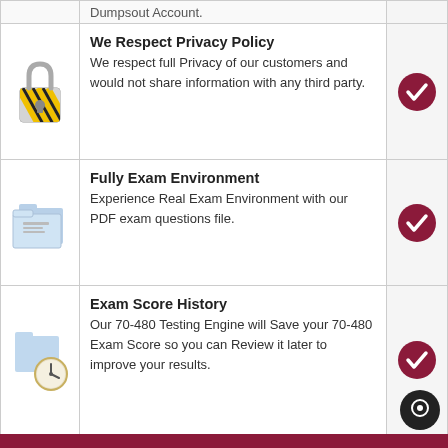Dumpsout Account.
[Figure (illustration): Padlock icon with yellow and black hazard stripes]
We Respect Privacy Policy
We respect full Privacy of our customers and would not share information with any third party.
[Figure (illustration): Dark red checkmark in a circle]
[Figure (illustration): Blue file folder icon]
Fully Exam Environment
Experience Real Exam Environment with our PDF exam questions file.
[Figure (illustration): Dark red checkmark in a circle]
[Figure (illustration): Blue folder with clock icon]
Exam Score History
Our 70-480 Testing Engine will Save your 70-480 Exam Score so you can Review it later to improve your results.
[Figure (illustration): Dark red checkmark in a circle]
[Figure (illustration): Notepad with checklist and pencil icon]
Saving Your Exam Notes
Our 70-480 PDF exam file provides option to save your exam Notes.
[Figure (illustration): Dark red checkmark in a circle]